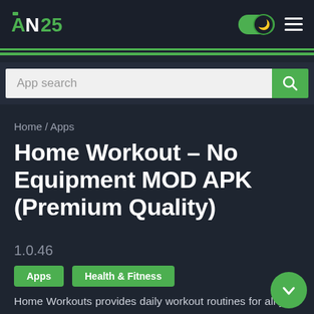AN25 [logo] [dark mode toggle] [hamburger menu]
[Figure (screenshot): Search bar with 'App search' placeholder and green search button]
Home / Apps
Home Workout – No Equipment MOD APK (Premium Quality)
1.0.46
Apps
Health & Fitness
Home Workouts provides daily workout routines for all your main muscle groups. In just a few minutes a day, you can build muscles and keep fitness at home without having to go to the gym. No equipment